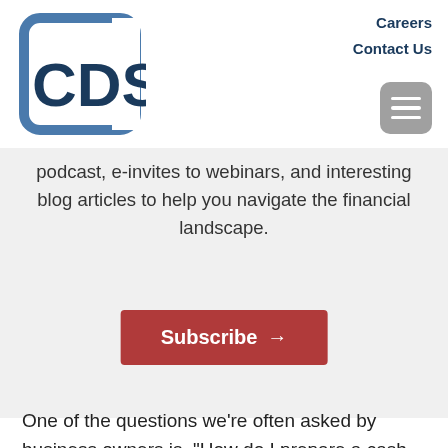[Figure (logo): CDS logo: rounded square bracket shape with 'CDS' text in dark blue]
Careers
Contact Us
podcast, e-invites to webinars, and interesting blog articles to help you navigate the financial landscape.
Subscribe →
One of the questions we’re often asked by business owners is, “How do I prepare a cash